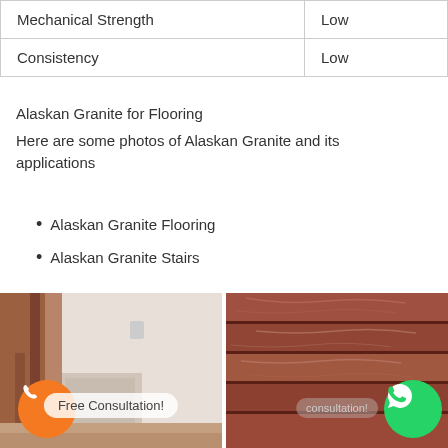| Mechanical Strength | Low |
| Consistency | Low |
Alaskan Granite for Flooring
Here are some photos of Alaskan Granite and its applications
Alaskan Granite Flooring
Alaskan Granite Stairs
[Figure (photo): Two photos side by side: left photo shows Alaskan Granite flooring in an interior staircase scene; right photo shows Alaskan Granite stairs with reddish-brown stone texture. Both photos have overlaid UI elements including an orange phone button, a green WhatsApp button, and a 'Free Consultation!' badge.]